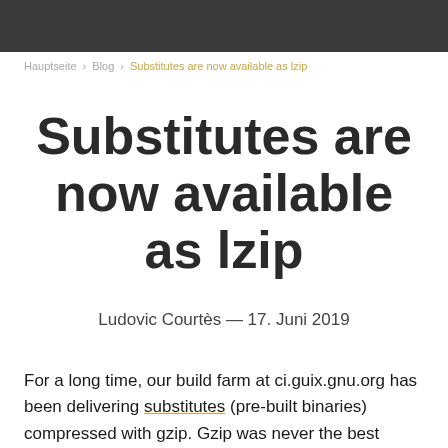Hauptseite › Blog › Substitutes are now available as lzip
Substitutes are now available as lzip
Ludovic Courtès — 17. Juni 2019
For a long time, our build farm at ci.guix.gnu.org has been delivering substitutes (pre-built binaries) compressed with gzip. Gzip was never the best choice in terms of compression ratio, but it was a reasonable and